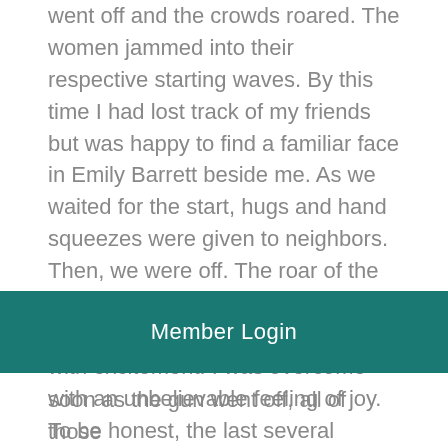went off and the crowds roared. The women jammed into their respective starting waves. By this time I had lost track of my friends but was happy to find a familiar face in Emily Barrett beside me. As we waited for the start, hugs and hand squeezes were given to neighbors. Then, we were off. The roar of the crowd was overpowering. Women were waving their hands in the air with excitement. I was overcome with an unbelievable feeling of joy. To be honest, the last several months had been extremely taxing on me. I had recently moved back to Colorado (yay!), ended a long relationship, and was starting almost
soon as the gun went off, all of those